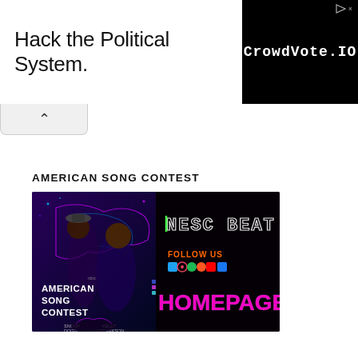[Figure (screenshot): Advertisement banner: 'Hack the Political System.' text on the left with CrowdVote.IO logo on a black background on the right, with a play/ad icon in top-right corner.]
[Figure (other): Collapse/toggle button with upward caret arrow below the ad banner.]
AMERICAN SONG CONTEST
[Figure (screenshot): American Song Contest homepage promotional image featuring two hosts (Snoop Dogg and Kelly Clarkson) in front of a neon-lit US map background, with NESC BEAT logo, FOLLOW US social media icons, and HOMEPAGE text in pink neon letters on a black/purple background.]